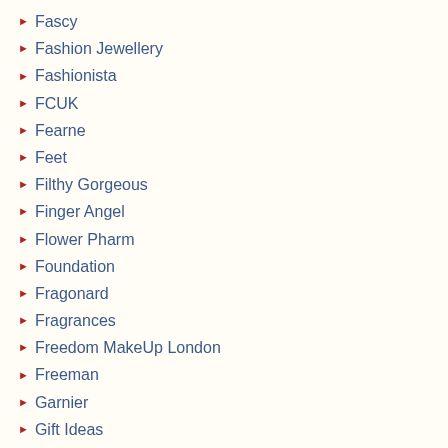Fascy
Fashion Jewellery
Fashionista
FCUK
Fearne
Feet
Filthy Gorgeous
Finger Angel
Flower Pharm
Foundation
Fragonard
Fragrances
Freedom MakeUp London
Freeman
Garnier
Gift Ideas
Giorgio Armani
Givenchy
Gliss
Global Beauty Care